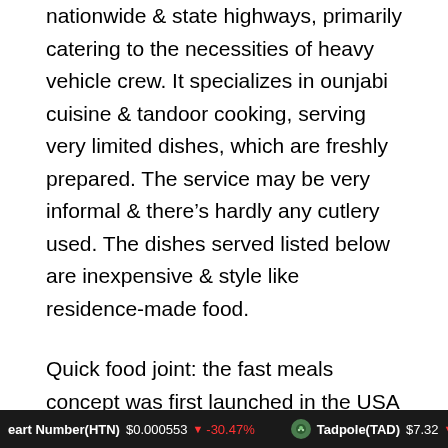nationwide & state highways, primarily catering to the necessities of heavy vehicle crew. It specializes in ounjabi cuisine & tandoor cooking, serving very limited dishes, which are freshly prepared. The service may be very informal & there's hardly any cutlery used. The dishes served listed below are inexpensive & style like residence-made food.
Quick food joint: the fast meals concept was first launched in the USA & now it has turn out to be widespread around the world. It's characterised by the speed of service & the affordable value of the menu items. Modifications in eating habits, non-availability of time to wait on the table & eat, improve in the number of working women, advancement in
eart Number(HTN) $0.000553 ↓ -30.47%    Tadpole(TAD) $7.32 ↓ -